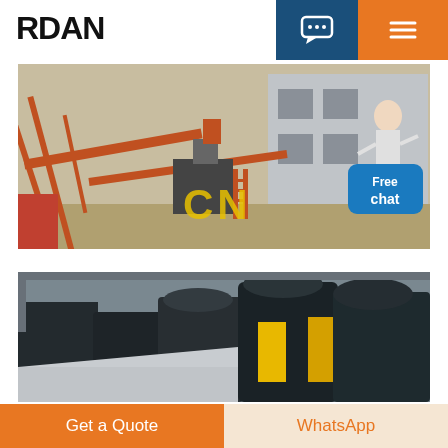RDAN
[Figure (photo): Industrial mining/crushing plant with orange metal conveyor structures and equipment against a grey building background, with yellow CN watermark overlay]
[Figure (photo): Indoor industrial machinery facility showing large black and dark-colored crushing/processing machines with yellow equipment in background]
Get a Quote
WhatsApp